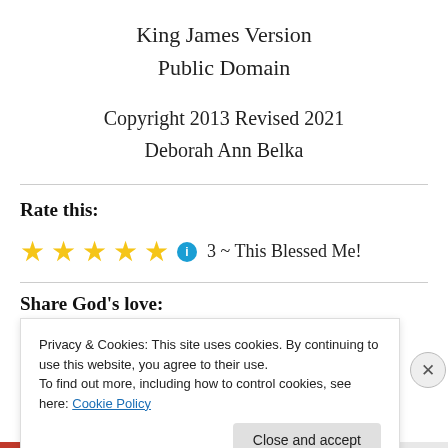King James Version
Public Domain
Copyright 2013 Revised 2021
Deborah Ann Belka
Rate this:
[Figure (other): Five gold stars with an info icon and text: 3 ~ This Blessed Me!]
Share God's love:
Privacy & Cookies: This site uses cookies. By continuing to use this website, you agree to their use.
To find out more, including how to control cookies, see here: Cookie Policy
Close and accept